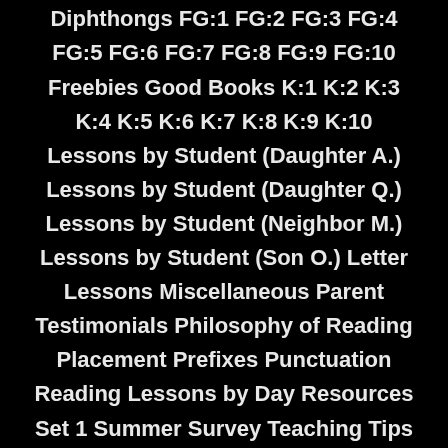Answering Your Questions Audio Blends Blog Announcements Blog Stuff Books Consonants Digraphs Diphthongs FG:1 FG:2 FG:3 FG:4 FG:5 FG:6 FG:7 FG:8 FG:9 FG:10 Freebies Good Books K:1 K:2 K:3 K:4 K:5 K:6 K:7 K:8 K:9 K:10 Lessons by Student (Daughter A.) Lessons by Student (Daughter Q.) Lessons by Student (Neighbor M.) Lessons by Student (Son O.) Letter Lessons Miscellaneous Parent Testimonials Philosophy of Reading Placement Prefixes Punctuation Reading Lessons by Day Resources Set 1 Summer Survey Teaching Tips TF:1 TF:2 TP:1 TP:2 TP:3 TP:4 TP:5 TP:6 TP:7 TP:8 TP:9 Vlogs Vowels Word Endings